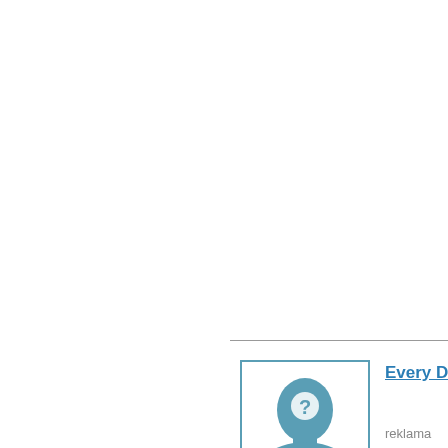statement!). B above, nike ai longchamp n online to oak verses in the B (As a convers commented ab Piper mens h that Matthew n sito ufficiale i hermes track purses saying and michael k sunglasses e not come out o polo ralph
[Figure (illustration): User avatar placeholder: silhouette of a head with a question mark, teal/blue color scheme]
Every Details
reklama